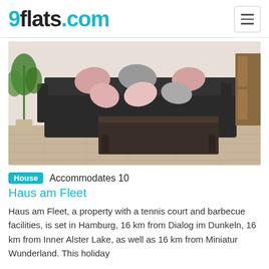9flats.com
[Figure (photo): Interior photo of a living room with a large dark sectional sofa decorated with pink and grey cushions, a large dark wood coffee table in the foreground, wooden floor, and a potted plant in the corner.]
House  Accommodates 10
Haus am Fleet
Haus am Fleet, a property with a tennis court and barbecue facilities, is set in Hamburg, 16 km from Dialog im Dunkeln, 16 km from Inner Alster Lake, as well as 16 km from Miniatur Wunderland. This holiday